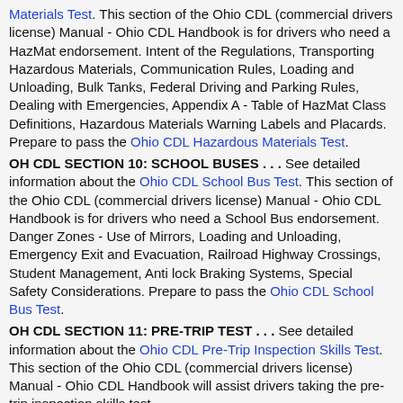Materials Test. This section of the Ohio CDL (commercial drivers license) Manual - Ohio CDL Handbook is for drivers who need a HazMat endorsement. Intent of the Regulations, Transporting Hazardous Materials, Communication Rules, Loading and Unloading, Bulk Tanks, Federal Driving and Parking Rules, Dealing with Emergencies, Appendix A - Table of HazMat Class Definitions, Hazardous Materials Warning Labels and Placards. Prepare to pass the Ohio CDL Hazardous Materials Test.
OH CDL SECTION 10: SCHOOL BUSES . . . See detailed information about the Ohio CDL School Bus Test. This section of the Ohio CDL (commercial drivers license) Manual - Ohio CDL Handbook is for drivers who need a School Bus endorsement. Danger Zones - Use of Mirrors, Loading and Unloading, Emergency Exit and Evacuation, Railroad Highway Crossings, Student Management, Anti lock Braking Systems, Special Safety Considerations. Prepare to pass the Ohio CDL School Bus Test.
OH CDL SECTION 11: PRE-TRIP TEST . . . See detailed information about the Ohio CDL Pre-Trip Inspection Skills Test. This section of the Ohio CDL (commercial drivers license) Manual - Ohio CDL Handbook will assist drivers taking the pre-trip inspection skills test.